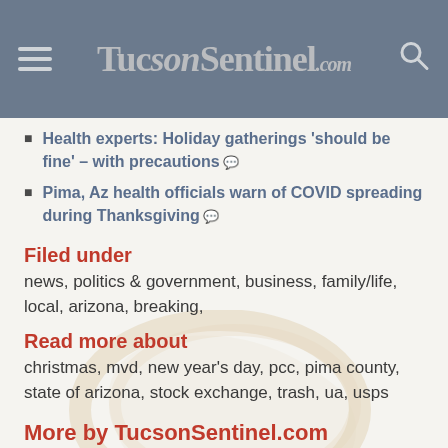TucsonSentinel.com
Health experts: Holiday gatherings 'should be fine' – with precautions
Pima, Az health officials warn of COVID spreading during Thanksgiving
Filed under
news, politics & government, business, family/life, local, arizona, breaking,
Read more about
christmas, mvd, new year's day, pcc, pima county, state of arizona, stock exchange, trash, ua, usps
More by TucsonSentinel.com
Az attorney, UA grad Roopali Desai confirmed as 9th Circuit judge
Primary election results: Contested races in Southern Arizona
Tucson Parks' KIDCO afterschool program begins